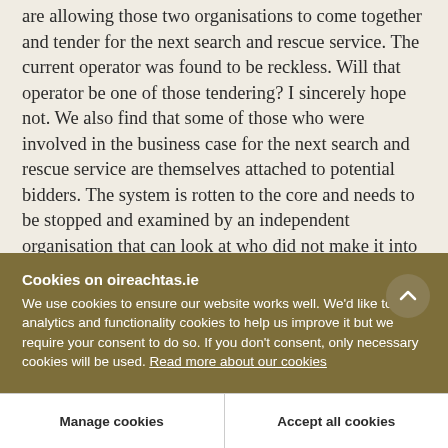are allowing those two organisations to come together and tender for the next search and rescue service. The current operator was found to be reckless. Will that operator be one of those tendering? I sincerely hope not. We also find that some of those who were involved in the business case for the next search and rescue service are themselves attached to potential bidders. The system is rotten to the core and needs to be stopped and examined by an independent organisation that can look at who did not make it into the business
Cookies on oireachtas.ie
We use cookies to ensure our website works well. We'd like to use analytics and functionality cookies to help us improve it but we require your consent to do so. If you don't consent, only necessary cookies will be used. Read more about our cookies
Manage cookies
Accept all cookies